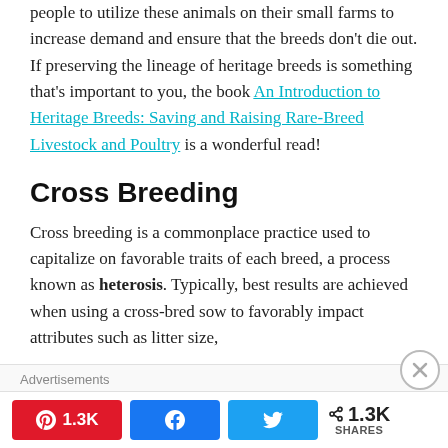people to utilize these animals on their small farms to increase demand and ensure that the breeds don't die out. If preserving the lineage of heritage breeds is something that's important to you, the book An Introduction to Heritage Breeds: Saving and Raising Rare-Breed Livestock and Poultry is a wonderful read!
Cross Breeding
Cross breeding is a commonplace practice used to capitalize on favorable traits of each breed, a process known as heterosis. Typically, best results are achieved when using a cross-bred sow to favorably impact attributes such as litter size,
Advertisements
1.3K  k  1.3K SHARES